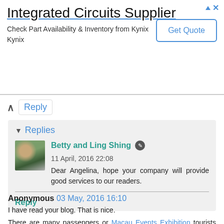[Figure (other): Advertisement banner for Integrated Circuits Supplier - Kynix, with Get Quote button]
Reply
Replies
Betty and Ling Shing  11 April, 2016 22:08
Dear Angelina, hope your company will provide good services to our readers.
Reply
Anonymous 03 May, 2016 16:10
I have read your blog. That is nice.
There are many passengers or Macau Events Exhibition tourists travelling from different parts of the world for